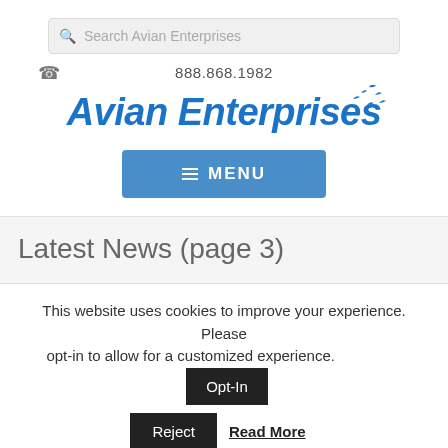[Figure (screenshot): Search bar with magnifying glass icon and placeholder text 'Search Avian Enterprises']
888.868.1982
[Figure (logo): Avian Enterprises logo with italic bold blue text and small bird silhouettes in upper right]
[Figure (screenshot): Blue MENU button with hamburger icon lines]
Latest News (page 3)
This website uses cookies to improve your experience. Please opt-in to allow for a customized experience.
Opt-In
Reject
Read More